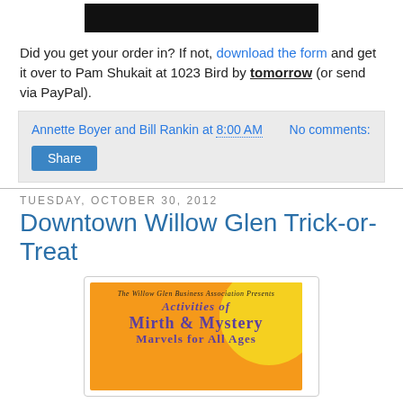[Figure (photo): Black rectangular image at top center]
Did you get your order in? If not, download the form and get it over to Pam Shukait at 1023 Bird by tomorrow (or send via PayPal).
Annette Boyer and Bill Rankin at 8:00 AM   No comments:
Share
Tuesday, October 30, 2012
Downtown Willow Glen Trick-or-Treat
[Figure (illustration): The Willow Glen Business Association Presents Activities of Mirth & Mystery Marvels for All Ages - orange background with yellow circle, purple decorative text]
The trick-or-treat tradition continues again downtown on Willo...